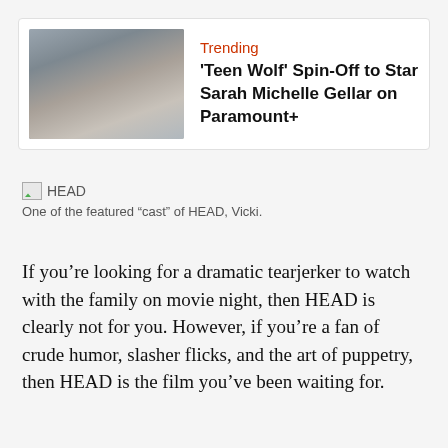[Figure (photo): Trending news card with photo of a young blonde woman in a dark top, with text 'Trending' in red and headline 'Teen Wolf Spin-Off to Star Sarah Michelle Gellar on Paramount+']
HEAD
One of the featured “cast” of HEAD, Vicki.
If you’re looking for a dramatic tearjerker to watch with the family on movie night, then HEAD is clearly not for you. However, if you’re a fan of crude humor, slasher flicks, and the art of puppetry, then HEAD is the film you’ve been waiting for.